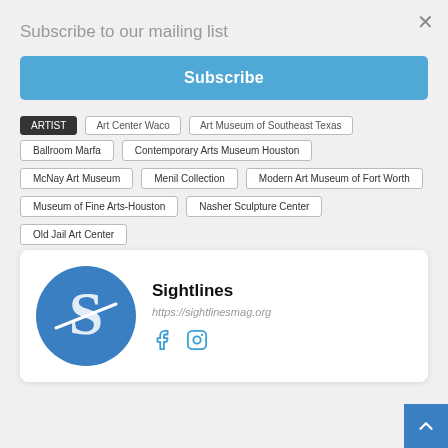Subscribe to our mailing list
×
Subscribe
Art Center Waco
Art Museum of Southeast Texas
Ballroom Marfa
Contemporary Arts Museum Houston
McNay Art Museum
Menil Collection
Modern Art Museum of Fort Worth
Museum of Fine Arts-Houston
Nasher Sculpture Center
Old Jail Art Center
[Figure (logo): Sightlines magazine logo: blue circle with white stylized S letter]
Sightlines
https://sightlinesmag.org
[Figure (other): Facebook and Instagram social media icons in teal/blue color]